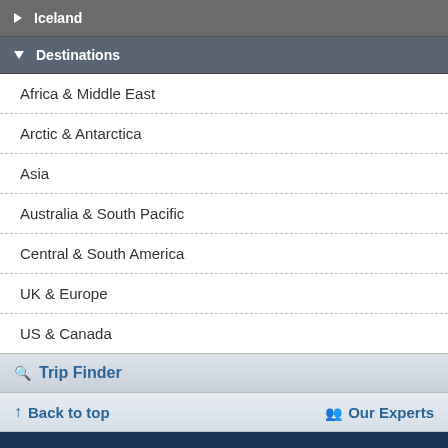Iceland
Destinations
Africa & Middle East
Arctic & Antarctica
Asia
Australia & South Pacific
Central & South America
UK & Europe
US & Canada
Trip Finder
Back to top
Our Experts
© Copyright 2022. Goway Travel.
View desktop version